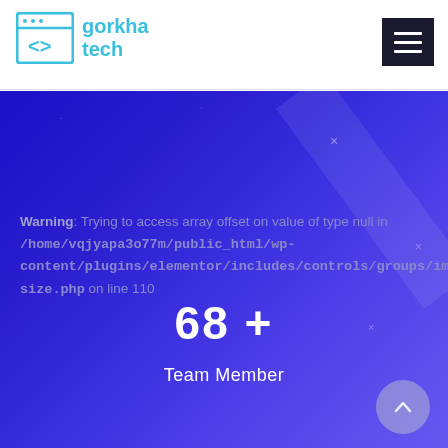[Figure (logo): Gorkha Tech logo with browser window icon containing angle brackets and text 'gorkha tech' in cyan/blue]
[Figure (other): Dark hamburger menu button (three horizontal lines) on dark background]
Warning: Trying to access array offset on value of type null in /home/vqjyapa3o77m/public_html/wp-content/plugins/elementor/includes/controls/groups/image-size.php on line 110
68 +
Team Member